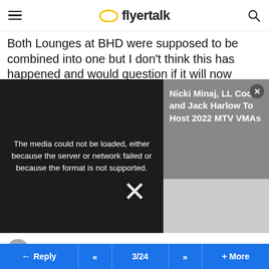flyertalk
Both Lounges at BHD were supposed to be combined into one but I don't think this has happened and would question if it will now happen at all.
[Figure (screenshot): Video player showing media error: 'The media could not be loaded, either because the server or network failed or because the format is not supported.' with a sidebar showing text 'Nicki Minaj, LL Cool J and Jack Harlow To Host 2022 MTV VMAs']
#43
ThatT1Feeling , Sep 9, 20 7:50 am
This really isn't good news anyway, but especially if it will start a domino effect for other UK regional lounges. I have only visited the NCL lounge once but was really impressed by the team working there and it's such a shame on a personal level for any of the team affected.
Reply  «  3/24  »  + More